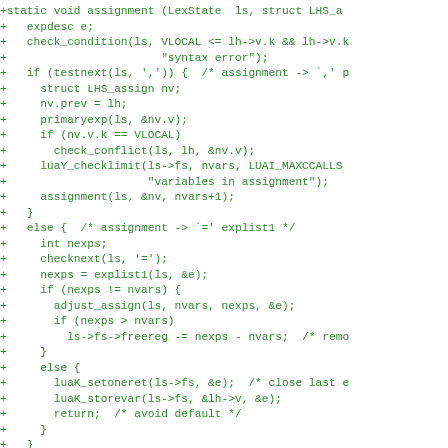[Figure (screenshot): Code diff showing a C function for Lua assignment handling, with lines prefixed by '+' in green monospace font on white background.]